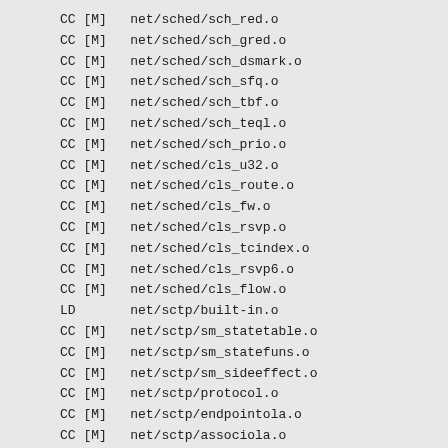CC [M]  net/sched/sch_red.o
CC [M]  net/sched/sch_gred.o
CC [M]  net/sched/sch_dsmark.o
CC [M]  net/sched/sch_sfq.o
CC [M]  net/sched/sch_tbf.o
CC [M]  net/sched/sch_teql.o
CC [M]  net/sched/sch_prio.o
CC [M]  net/sched/cls_u32.o
CC [M]  net/sched/cls_route.o
CC [M]  net/sched/cls_fw.o
CC [M]  net/sched/cls_rsvp.o
CC [M]  net/sched/cls_tcindex.o
CC [M]  net/sched/cls_rsvp6.o
CC [M]  net/sched/cls_flow.o
LD      net/sctp/built-in.o
CC [M]  net/sctp/sm_statetable.o
CC [M]  net/sctp/sm_statefuns.o
CC [M]  net/sctp/sm_sideeffect.o
CC [M]  net/sctp/protocol.o
CC [M]  net/sctp/endpointola.o
CC [M]  net/sctp/associola.o
CC [M]  net/sctp/transport.o
CC [M]  net/sctp/chunk.o
CC [M]  net/sctp/sm_make_chunk.o
CC [M]  net/sctp/ulpevent.o
CC [M]  net/sctp/inqueue.o
CC [M]  net/sctp/outqueue.o